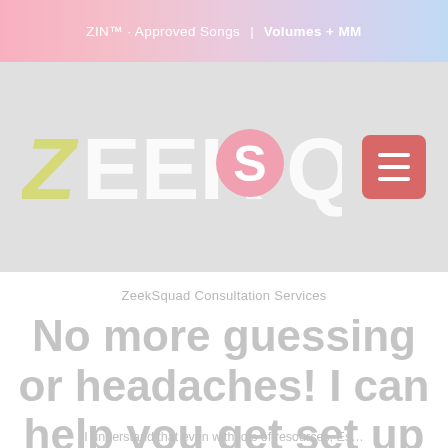ZIN™ · Approved Songs | Volumes + MM
[Figure (logo): ZeekSquad logo in large white/yellow text with pink circular S on grey background, with red hamburger menu button on the right]
ZeekSquad Consultation Services
No more guessing or headaches! I can help you get set up today!
I understand that even with lots resources, Es...